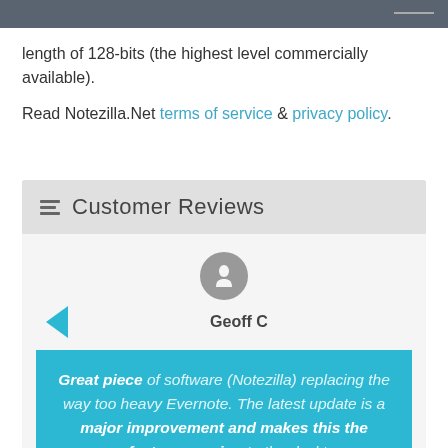length of 128-bits (the highest level commercially available).
Read Notezilla.Net terms of service & privacy policy.
Customer Reviews
Geoff C
Great piece of software (Notezilla) replacing the way too heavy Evernote. The latest update is a major improvement and makes this the perfect companion to the desktop